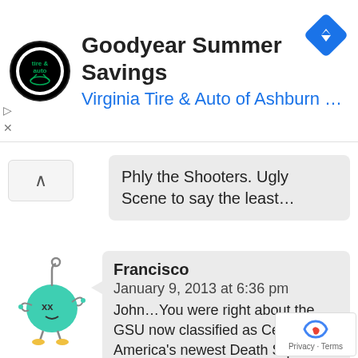[Figure (screenshot): Ad banner: Goodyear Summer Savings - Virginia Tire & Auto of Ashburn logo and navigation icon]
Goodyear Summer Savings
Virginia Tire & Auto of Ashburn ...
Phly the Shooters. Ugly Scene to say the least...
Francisco
January 9, 2013 at 6:36 pm
John...You were right about the GSU now classified as Central America's newest Death Squad. Four people were killed Commando style with their throat slashed Colombian neck tie style. http://www.youtube.com/wa